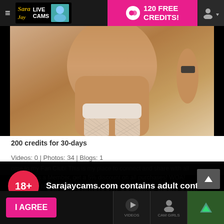≡  SaraJay LIVE CAMS   120 FREE CREDITS!
[Figure (photo): Cropped photo of person wearing fishnet stockings and white undergarment, torso/legs view]
200 credits for 30-days
Videos: 0 | Photos: 34 | Blogs: 1
18+   Sarajaycams.com contains adult content
By using the site, you acknowledge you have read our Privacy Policy, and agree to our Terms and Conditions.
We use cookies to optimize your experience, analyze traffic, and deliver more personalized service. To learn more, please see our Privacy Policy.
I AGREE